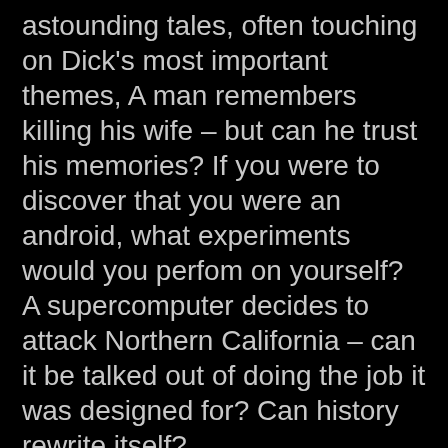astounding tales, often touching on Dick's most important themes, A man remembers killing his wife – but can he trust his memories? If you were to discover that you were an android, what experiments would you perfom on yourself? A supercomputer decides to attack Northern California – can it be talked out of doing the job it was designed for? Can history rewrite itself?
All of these questions will be asked as you enter the world of Philip K Dick's remarkable imagination.
REVIEW:
Whilst many people have heard the name or watched a